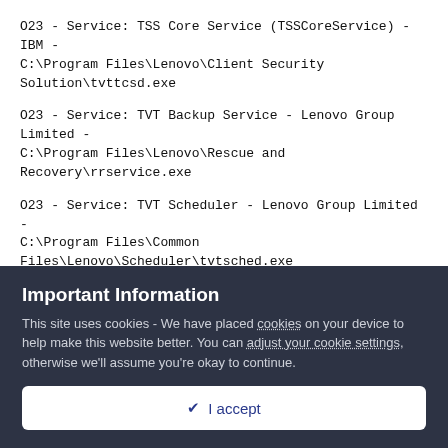O23 - Service: TSS Core Service (TSSCoreService) - IBM - C:\Program Files\Lenovo\Client Security Solution\tvttcsd.exe
O23 - Service: TVT Backup Service - Lenovo Group Limited - C:\Program Files\Lenovo\Rescue and Recovery\rrservice.exe
O23 - Service: TVT Scheduler - Lenovo Group Limited - C:\Program Files\Common Files\Lenovo\Scheduler\tvtsched.exe
O23 - Service: tvtnetwk - Unknown owner - C:\Program Files\Lenovo\Rescue and Recovery\ADM\IUService.exe
--
Important Information
This site uses cookies - We have placed cookies on your device to help make this website better. You can adjust your cookie settings, otherwise we'll assume you're okay to continue.
I accept